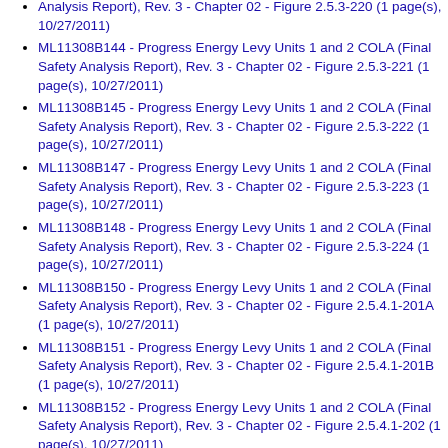ML11308B144 - Progress Energy Levy Units 1 and 2 COLA (Final Safety Analysis Report), Rev. 3 - Chapter 02 - Figure 2.5.3-221 (1 page(s), 10/27/2011)
ML11308B145 - Progress Energy Levy Units 1 and 2 COLA (Final Safety Analysis Report), Rev. 3 - Chapter 02 - Figure 2.5.3-222 (1 page(s), 10/27/2011)
ML11308B147 - Progress Energy Levy Units 1 and 2 COLA (Final Safety Analysis Report), Rev. 3 - Chapter 02 - Figure 2.5.3-223 (1 page(s), 10/27/2011)
ML11308B148 - Progress Energy Levy Units 1 and 2 COLA (Final Safety Analysis Report), Rev. 3 - Chapter 02 - Figure 2.5.3-224 (1 page(s), 10/27/2011)
ML11308B150 - Progress Energy Levy Units 1 and 2 COLA (Final Safety Analysis Report), Rev. 3 - Chapter 02 - Figure 2.5.4.1-201A (1 page(s), 10/27/2011)
ML11308B151 - Progress Energy Levy Units 1 and 2 COLA (Final Safety Analysis Report), Rev. 3 - Chapter 02 - Figure 2.5.4.1-201B (1 page(s), 10/27/2011)
ML11308B152 - Progress Energy Levy Units 1 and 2 COLA (Final Safety Analysis Report), Rev. 3 - Chapter 02 - Figure 2.5.4.1-202 (1 page(s), 10/27/2011)
ML11308B153 - Progress Energy Levy Units 1 and 2 COLA (Final Safety Analysis Report), Rev. 3 - Chapter 02 - Figure 2.5.4.2-201A (1 page(s), 10/27/2011)
ML11308B154 - Progress Energy Levy Units 1 and 2 COLA (Final Safety Analysis Report), Rev. 3 - Chapter 02 - Figure 2.5.4.2-201B (1 page(s), 10/27/2011)
ML11308B155 - Progress Energy Levy Units 1 and 2 COLA (Final Safety Analysis Report), Rev. 3 - Chapter 02 - Figure 2.5.4.2-201C (1 page(s), 10/27/2011)
ML11308B156 - Progress Energy Levy Units 1 and 2 COLA (Final Safety